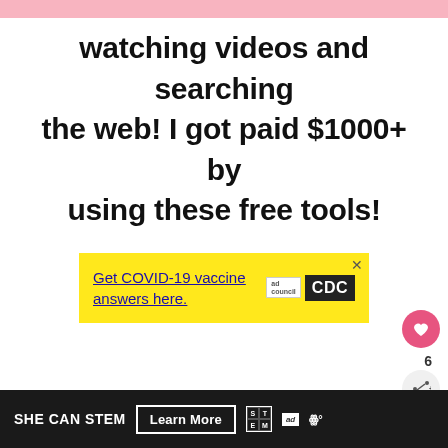watching videos and searching the web! I got paid $1000+ by using these free tools!
[Figure (screenshot): Yellow advertisement banner for CDC COVID-19 vaccine information, with 'Get COVID-19 vaccine answers here.' text link and Ad Council/CDC logos]
[Figure (infographic): SHE CAN STEM advertisement banner at bottom with Learn More button, STEM grid logo, Ad Council logo, and W+ logo]
6